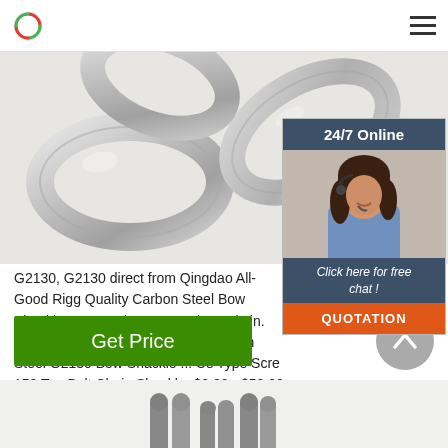Navigation header with logo and hamburger menu
[Figure (photo): Close-up photo of galvanized metal chain links]
[Figure (photo): Customer service representative with headset, with '24/7 Online' banner, 'Click here for free chat!' text, and orange QUOTATION button]
G2130, G2130 direct from Qingdao All-Good Rigg Quality Carbon Steel Bow Shackle G 2130. $0.20 100 Pieces (Min. Order) Made In China Us Type Carbon Steel G2130 Bow Shackle ... Us Type Scre 150 Ton Bolt Chain Shackle. $0.20 - $50.00 Piece (Min. Order) Forged Galvanized US Safety Bow S Safety Bolt Pin. For Heavy Industry. For ...
[Figure (photo): Partial view of metal shackle hardware at bottom of page]